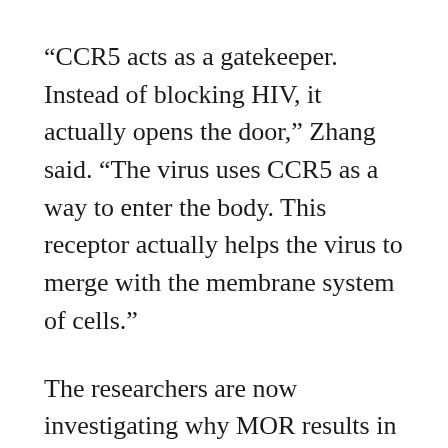“CCR5 acts as a gatekeeper. Instead of blocking HIV, it actually opens the door,” Zhang said. “The virus uses CCR5 as a way to enter the body. This receptor actually helps the virus to merge with the membrane system of cells.”
The researchers are now investigating why MOR results in an increase of CCR5. It is a discovery that would help with drug development, Zhang said. The two receptors may physically interact and cause protein actions downstream.
Zhang’s lab… [text continues below]